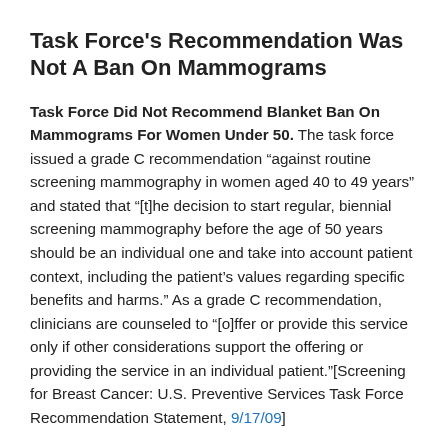Task Force's Recommendation Was Not A Ban On Mammograms
Task Force Did Not Recommend Blanket Ban On Mammograms For Women Under 50. The task force issued a grade C recommendation "against routine screening mammography in women aged 40 to 49 years" and stated that "[t]he decision to start regular, biennial screening mammography before the age of 50 years should be an individual one and take into account patient context, including the patient's values regarding specific benefits and harms." As a grade C recommendation, clinicians are counseled to "[o]ffer or provide this service only if other considerations support the offering or providing the service in an individual patient."[Screening for Breast Cancer: U.S. Preventive Services Task Force Recommendation Statement, 9/17/09]